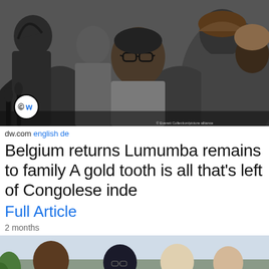[Figure (photo): Black and white photograph of Patrice Lumumba surrounded by a crowd of people, with microphones in front of him. DW logo visible in bottom left corner. Photo credit shown bottom right.]
dw.com english de
Belgium returns Lumumba remains to family A gold tooth is all that's left of Congolese inde
Full Article
2 months
[Figure (photo): Color photograph showing a group of people, partially visible, at the bottom of the page.]